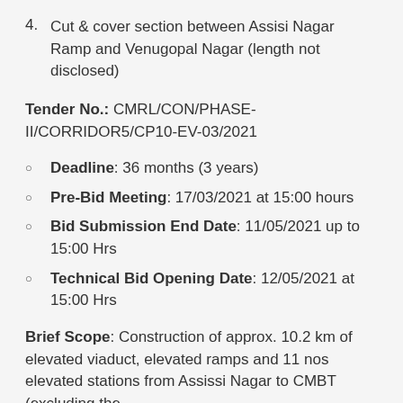4. Cut & cover section between Assisi Nagar Ramp and Venugopal Nagar (length not disclosed)
Tender No.: CMRL/CON/PHASE-II/CORRIDOR5/CP10-EV-03/2021
Deadline: 36 months (3 years)
Pre-Bid Meeting: 17/03/2021 at 15:00 hours
Bid Submission End Date: 11/05/2021 up to 15:00 Hrs
Technical Bid Opening Date: 12/05/2021 at 15:00 Hrs
Brief Scope: Construction of approx. 10.2 km of elevated viaduct, elevated ramps and 11 nos elevated stations from Assissi Nagar to CMBT (excluding the ...